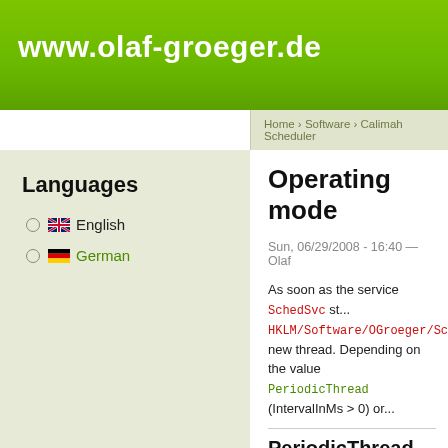www.olaf-groeger.de
Home › Software › Calimah Scheduler
Languages
English
German
Operating mode
Sun, 06/29/2008 - 16:40 — Olaf
As soon as the service SchedSvc st... HKLM/Software/OGroeger/SchedSvc. new thread. Depending on the value PeriodicThread (IntervalInMs > 0) or...
PeriodicThread
The thread function of a PeriodicThr...
Create a WaitableTimer with the...
Starts this WaitableTimer.
Wait for the timer...